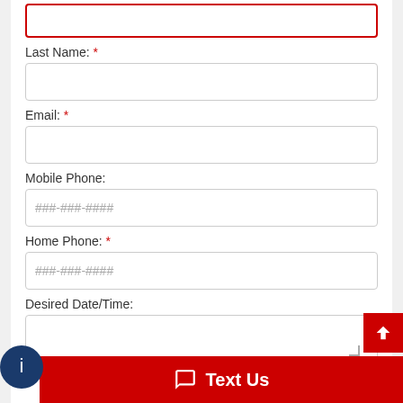Last Name: *
(text input field - Last Name)
Email: *
(text input field - Email)
Mobile Phone:
###-###-####
Home Phone: *
###-###-####
Desired Date/Time:
(textarea field - Desired Date/Time)
Text Us